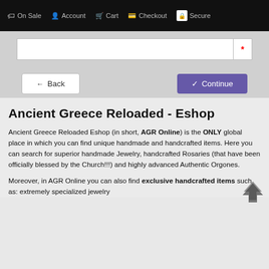On Sale | Account | Cart | Checkout | Secure
[Figure (screenshot): Search input field with asterisk/required marker]
[Figure (screenshot): Back button and Continue button]
Ancient Greece Reloaded - Eshop
Ancient Greece Reloaded Eshop (in short, AGR Online) is the ONLY global place in which you can find unique handmade and handcrafted items. Here you can search for superior handmade Jewelry, handcrafted Rosaries (that have been officially blessed by the Church!!!) and highly advanced Authentic Orgones.
Moreover, in AGR Online you can also find exclusive handcrafted items such as: extremely specialized jewelry